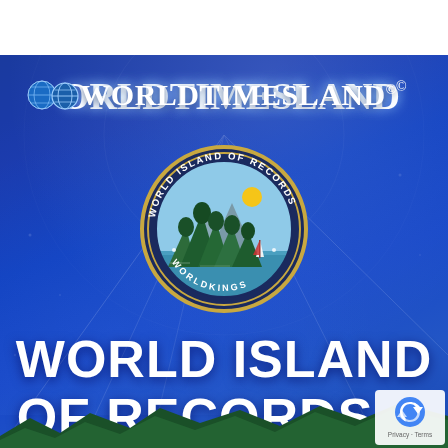[Figure (logo): WorldTimesLand logo with globe icon replacing the 'O', white stylized serif text on dark blue background with copyright symbol]
[Figure (logo): World Island of Records circular seal/badge: outer dark ring with gold inner ring, text 'WORLD ISLAND OF RECORDS' curved at top and 'WORLDKINGS' at bottom with dots, center illustration of rocky island peaks with trees, water, sailboat, and yellow sun on light blue sky]
WORLD ISLAND OF RECORDS